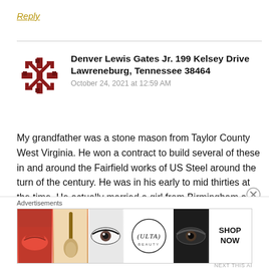Reply
[Figure (logo): Decorative dark red snowflake/star pattern avatar icon]
Denver Lewis Gates Jr. 199 Kelsey Drive Lawreneburg, Tennessee 38464
October 24, 2021 at 12:59 AM
My grandfather was a stone mason from Taylor County West Virginia. He won a contract to build several of these in and around the Fairfield works of US Steel around the turn of the century. He was in his early to mid thirties at the time. He actually married a girl from Birmingham and took her back
Advertisements
[Figure (photo): ULTA Beauty advertisement banner showing makeup imagery — red lips, makeup brush, eye makeup, ULTA logo, and SHOP NOW text]